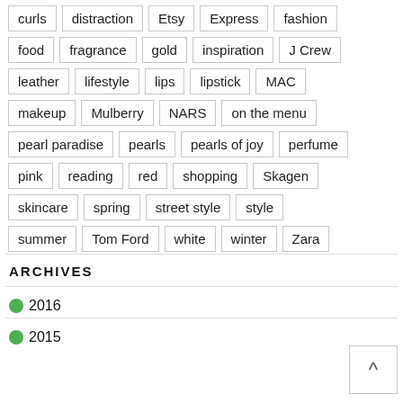curls
distraction
Etsy
Express
fashion
food
fragrance
gold
inspiration
J Crew
leather
lifestyle
lips
lipstick
MAC
makeup
Mulberry
NARS
on the menu
pearl paradise
pearls
pearls of joy
perfume
pink
reading
red
shopping
Skagen
skincare
spring
street style
style
summer
Tom Ford
white
winter
Zara
ARCHIVES
2016
2015